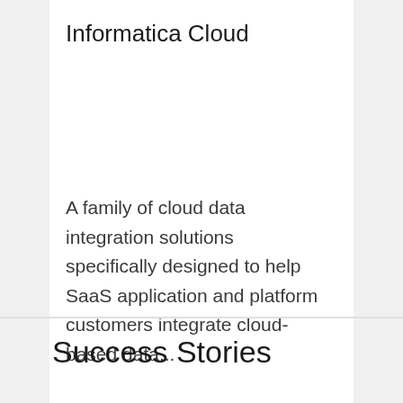Informatica Cloud
A family of cloud data integration solutions specifically designed to help SaaS application and platform customers integrate cloud-based data...
LEARN MORE →
[Figure (illustration): Orange envelope icon in a white rounded square card]
Success Stories